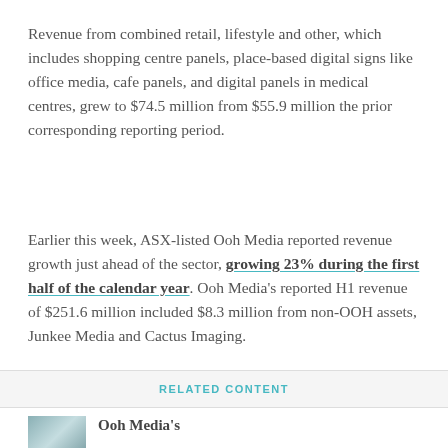Revenue from combined retail, lifestyle and other, which includes shopping centre panels, place-based digital signs like office media, cafe panels, and digital panels in medical centres, grew to $74.5 million from $55.9 million the prior corresponding reporting period.
Earlier this week, ASX-listed Ooh Media reported revenue growth just ahead of the sector, growing 23% during the first half of the calendar year. Ooh Media's reported H1 revenue of $251.6 million included $8.3 million from non-OOH assets, Junkee Media and Cactus Imaging.
RELATED CONTENT
Ooh Media's